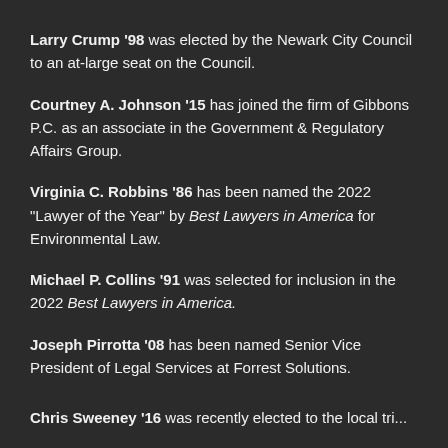Larry Crump '98 was elected by the Newark City Council to an at-large seat on the Council.
Courtney A. Johnson '15 has joined the firm of Gibbons P.C. as an associate in the Government & Regulatory Affairs Group.
Virginia C. Robbins '86 has been named the 2022 "Lawyer of the Year" by Best Lawyers in America for Environmental Law.
Michael P. Collins '91 was selected for inclusion in the 2022 Best Lawyers in America.
Joseph Pirrotta '08 has been named Senior Vice President of Legal Services at Forrest Solutions.
Chris Sweeney '16 ...